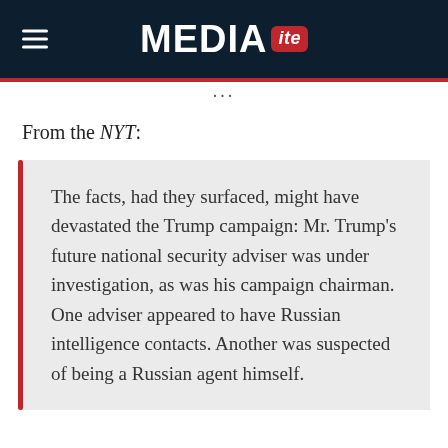MEDIAITE
From the NYT:
The facts, had they surfaced, might have devastated the Trump campaign: Mr. Trump’s future national security adviser was under investigation, as was his campaign chairman. One adviser appeared to have Russian intelligence contacts. Another was suspected of being a Russian agent himself.